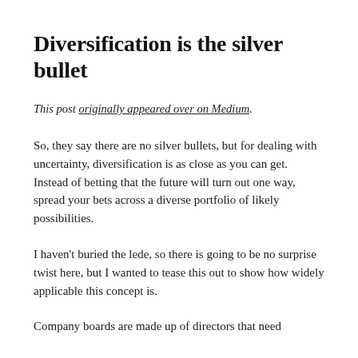Diversification is the silver bullet
This post originally appeared over on Medium.
So, they say there are no silver bullets, but for dealing with uncertainty, diversification is as close as you can get. Instead of betting that the future will turn out one way, spread your bets across a diverse portfolio of likely possibilities.
I haven’t buried the lede, so there is going to be no surprise twist here, but I wanted to tease this out to show how widely applicable this concept is.
Company boards are made up of directors that need